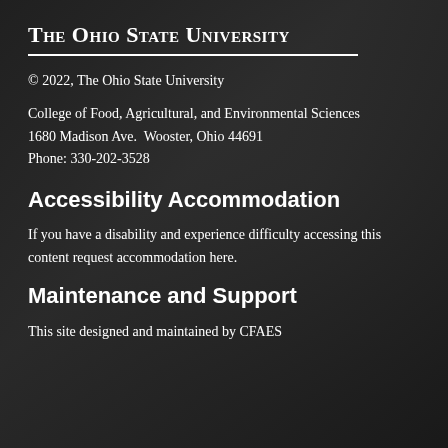The Ohio State University
© 2022, The Ohio State University
College of Food, Agricultural, and Environmental Sciences
1680 Madison Ave.  Wooster, Ohio 44691
Phone: 330-202-3528
Accessibility Accommodation
If you have a disability and experience difficulty accessing this content request accommodation here.
Maintenance and Support
This site designed and maintained by CFAES